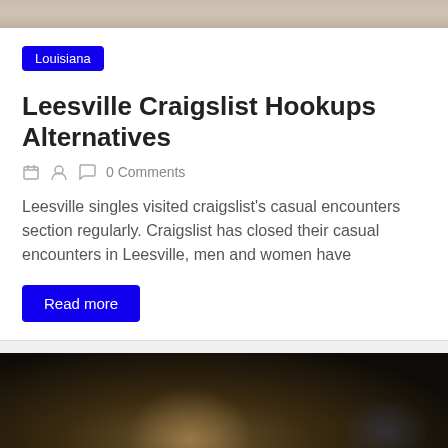[Figure (photo): Top portion of a photo, cropped, showing light background]
Louisiana
Leesville Craigslist Hookups Alternatives
0 Comments
Leesville singles visited craigslist's casual encounters section regularly. Craigslist has closed their casual encounters in Leesville, men and women have
Read more
[Figure (photo): Person lying down looking at a screen in the dark, face illuminated by blue-white screen glow]